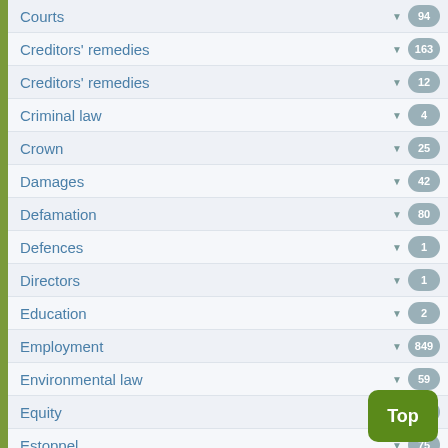Courts 94
Creditors' remedies 163
Creditors' remedies 12
Criminal law 4
Crown 25
Damages 42
Defamation 80
Defences 1
Directors 1
Education 2
Employment 849
Environmental law 59
Equity 14
Estoppel 75
Examination for discovery 2
Expropriation 48
Fiduciaries 53
Fourth party proceedings
Franchises
Fraudulent transactions 87